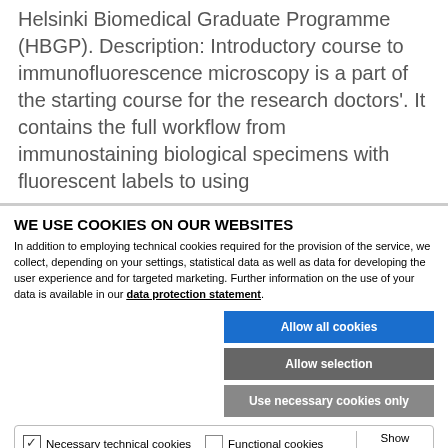Helsinki Biomedical Graduate Programme (HBGP). Description: Introductory course to immunofluorescence microscopy is a part of the starting course for the research doctors'. It contains the full workflow from immunostaining biological specimens with fluorescent labels to using
WE USE COOKIES ON OUR WEBSITES
In addition to employing technical cookies required for the provision of the service, we collect, depending on your settings, statistical data as well as data for developing the user experience and for targeted marketing. Further information on the use of your data is available in our data protection statement.
Allow all cookies
Allow selection
Use necessary cookies only
Necessary technical cookies  Functional cookies  Statistics cookies  Marketing cookies  Show details